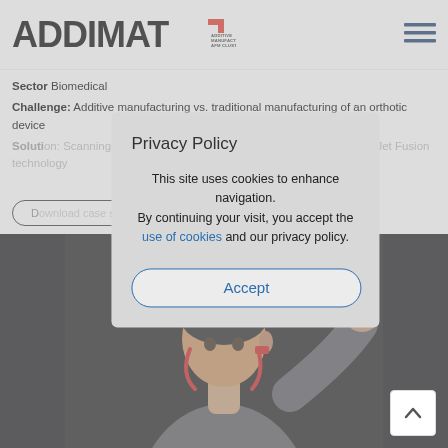ADDIMAT — Additive Manufacturing AFM Cluster
Sector: Biomedical
Challenge: Additive manufacturing vs. traditional manufacturing of an orthotic device
Solution: Scanning, design and manufacturing of the device using MultiJet Fusion technology
Download case study (button)
[Figure (screenshot): Privacy Policy modal dialog overlay on a website. Modal text: 'Privacy Policy — This site uses cookies to enhance navigation. By continuing your visit, you accept the use of cookies and our privacy policy.' with an Accept button. Behind the modal, a page about ADDIMAT with content about an orthotic device case study and a photo of a man wearing a head/jaw orthotic device.]
[Figure (photo): Athletic man wearing a jaw/head orthotic device, dressed in grey athletic wear, photographed against a dark background with acoustic foam panels.]